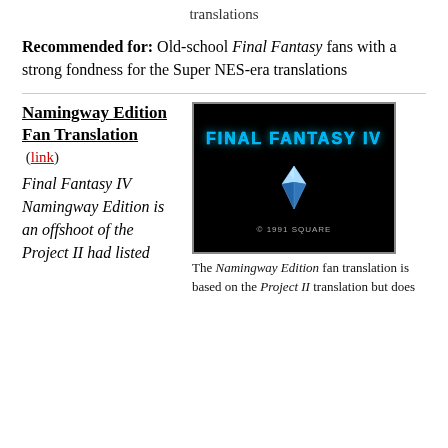translations
Recommended for: Old-school Final Fantasy fans with a strong fondness for the Super NES-era translations
Namingway Edition Fan Translation
(link)
Final Fantasy IV Namingway Edition is an offshoot of the Project II had listed
[Figure (screenshot): Title screen of Final Fantasy IV showing 'FINAL FANTASY IV' text in blue icy letters on a black background with a glowing blue crystal and '© 1991 SQUARE' text below]
The Namingway Edition fan translation is based on the Project II translation but does